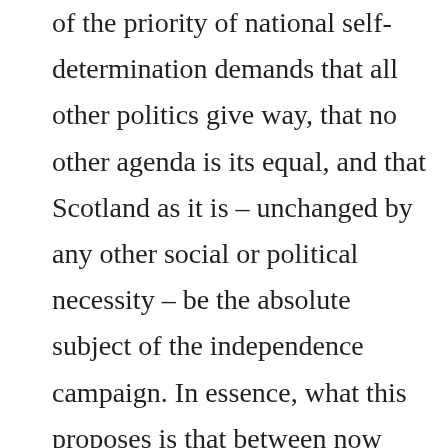of the priority of national self-determination demands that all other politics give way, that no other agenda is its equal, and that Scotland as it is – unchanged by any other social or political necessity – be the absolute subject of the independence campaign. In essence, what this proposes is that between now and independence, whenever that might be, we do everything in our power to maintain the status quo, to put all the currents of Scotland's political life on ice, to keep it in an unnatural state of suspended animation. The problem with this idea, however, is that Scotland is a complex, living social organism. Like every other country on earth